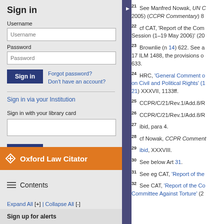Sign in
Username
Password
Forgot password? Don't have an account?
Sign in via your Institution
Sign in with your library card
Oxford Law Citator
Contents
Expand All [+] | Collapse All [-]
Sign up for alerts
21  See Manfred Nowak, UN C... 2005) (CCPR Commentary) 8
22  cf CAT, 'Report of the Com... Session (1–19 May 2006)' (20...
23  Brownlie (n 14) 622. See a... 17 ILM 1488, the provisions o... 633.
24  HRC, 'General Comment o... on Civil and Political Rights' (1... 21) XXXVII, 1133ff.
25  CCPR/C/21/Rev.1/Add.8/R
26  CCPR/C/21/Rev.1/Add.8/R
27  ibid, para 4.
28  cf Nowak, CCPR Comment...
29  ibid, XXXVIII.
30  See below Art 31.
31  See eg CAT, 'Report of the...
32  See CAT, 'Report of the Co... Committee Against Torture' (2...